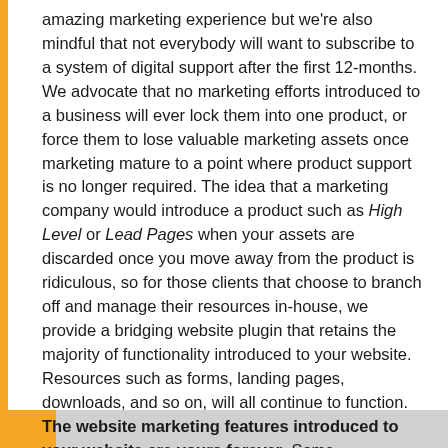amazing marketing experience but we're also mindful that not everybody will want to subscribe to a system of digital support after the first 12-months. We advocate that no marketing efforts introduced to a business will ever lock them into one product, or force them to lose valuable marketing assets once marketing mature to a point where product support is no longer required. The idea that a marketing company would introduce a product such as High Level or Lead Pages when your assets are discarded once you move away from the product is ridiculous, so for those clients that choose to branch off and manage their resources in-house, we provide a bridging website plugin that retains the majority of functionality introduced to your website. Resources such as forms, landing pages, downloads, and so on, will all continue to function. The website marketing features introduced to your website are yours forever. Some functionality and automation